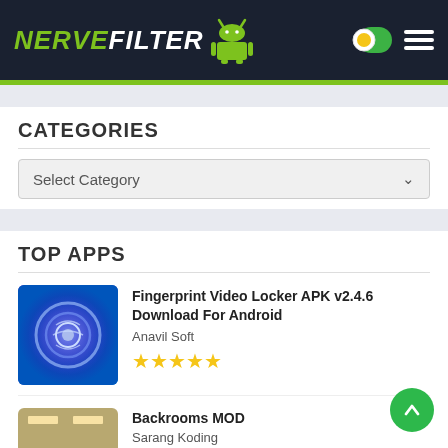NERVEFILTER
CATEGORIES
Select Category
TOP APPS
Fingerprint Video Locker APK v2.4.6 Download For Android
Anavil Soft
★★★★★
Backrooms MOD
Sarang Koding
★★★★½